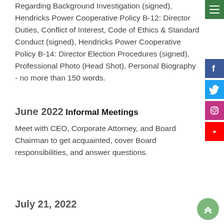Regarding Background Investigation (signed), Hendricks Power Cooperative Policy B-12: Director Duties, Conflict of Interest, Code of Ethics & Standard Conduct (signed), Hendricks Power Cooperative Policy B-14: Director Election Procedures (signed), Professional Photo (Head Shot), Personal Biography - no more than 150 words.
June 2022
Informal Meetings
Meet with CEO, Corporate Attorney, and Board Chairman to get acquainted, cover Board responsibilities, and answer questions.
July 21, 2022